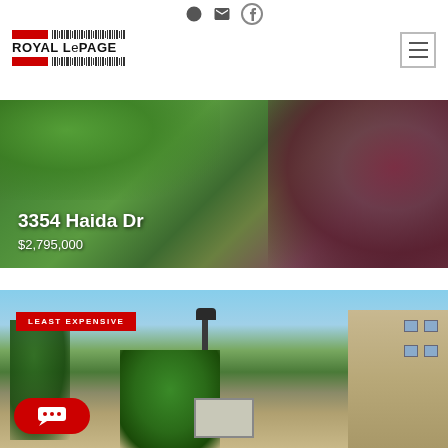[Figure (logo): Royal LePage real estate logo with red bars and barcode pattern]
3354 Haida Dr
$2,795,000
LEAST EXPENSIVE